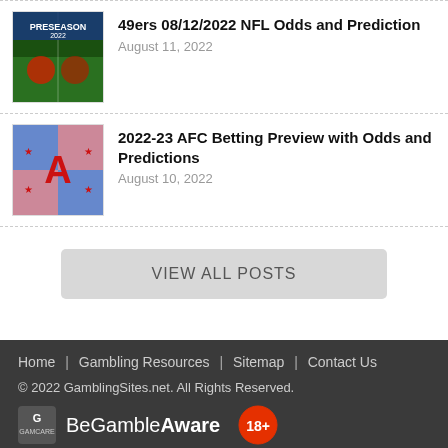49ers 08/12/2022 NFL Odds and Prediction
August 11, 2022
2022-23 AFC Betting Preview with Odds and Predictions
August 10, 2022
VIEW ALL POSTS
Home | Gambling Resources | Sitemap | Contact Us
© 2022 GamblingSites.net. All Rights Reserved.
BeGambleAware  18+